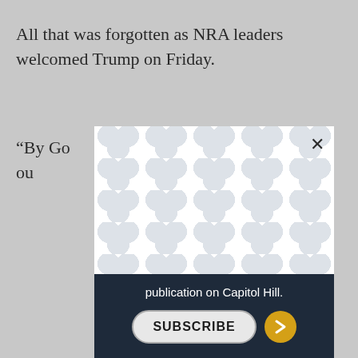All that was forgotten as NRA leaders welcomed Trump on Friday.
“By Go… e will save ou… great again,’
[Figure (screenshot): A modal advertisement overlay with a repeating circular/blob pattern background in light gray and white, a close (X) button in the top right, a dark navy footer with the text 'publication on Capitol Hill.' and a SUBSCRIBE button with a gold arrow button.]